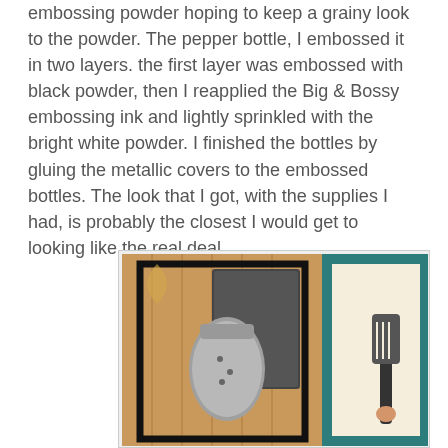embossing powder hoping to keep a grainy look to the powder. The pepper bottle, I embossed it in two layers. the first layer was embossed with black powder, then I reapplied the Big & Bossy embossing ink and lightly sprinkled with the bright white powder. I finished the bottles by gluing the metallic covers to the embossed bottles. The look that I got, with the supplies I had, is probably the closest I would get to looking like the real deal.
[Figure (photo): Craft project photo showing handmade salt and pepper shakers with embossed black and metallic finishes on a wooden surface, next to a card with a spatula illustration on a teal background.]